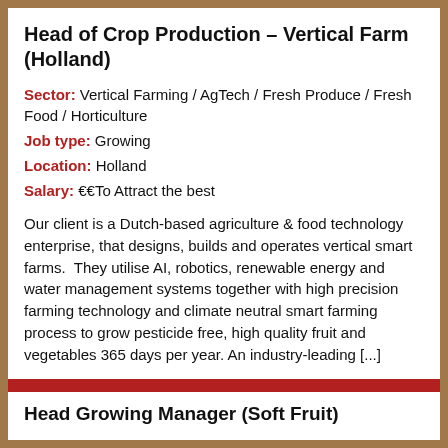Head of Crop Production – Vertical Farm (Holland)
Sector: Vertical Farming / AgTech / Fresh Produce / Fresh Food / Horticulture
Job type: Growing
Location: Holland
Salary: €€To Attract the best
Our client is a Dutch-based agriculture & food technology enterprise, that designs, builds and operates vertical smart farms.  They utilise AI, robotics, renewable energy and water management systems together with high precision farming technology and climate neutral smart farming process to grow pesticide free, high quality fruit and vegetables 365 days per year. An industry-leading [...]
FULL DETAILS...
Head Growing Manager (Soft Fruit)